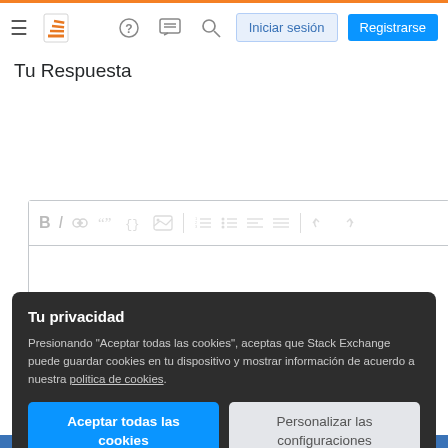[Figure (screenshot): Stack Overflow / Stack Exchange navigation bar with hamburger menu, logo, help icon, chat icon, search icon, Iniciar sesión button, and Registrarse button]
Tu Respuesta
[Figure (screenshot): Text editor toolbar with Bold (B), Italic (I), link, blockquote, code, image, ordered list, unordered list, left align, justify, undo, redo icons, followed by empty editor body]
Tu privacidad
Presionando "Aceptar todas las cookies", aceptas que Stack Exchange puede guardar cookies en tu dispositivo y mostrar información de acuerdo a nuestra politica de cookies.
Aceptar todas las cookies
Personalizar las configuraciones